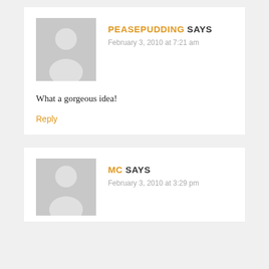PEASEPUDDING SAYS
February 3, 2010 at 7:21 am
What a gorgeous idea!
Reply
MC SAYS
February 3, 2010 at 3:29 pm